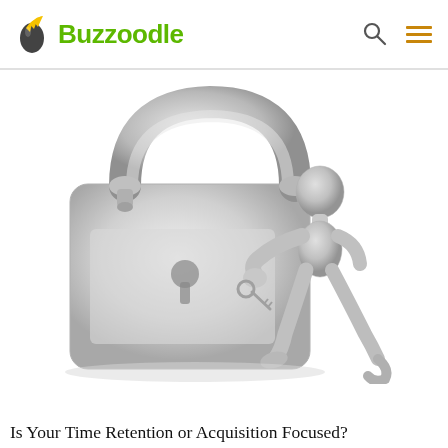Buzzoodle
[Figure (illustration): 3D render of a small gray humanoid figure using a key to pick or unlock a large padlock. The padlock is open/unlocked with the shackle raised. Both figures are white/gray against a white background.]
Is Your Time Retention or Acquisition Focused?